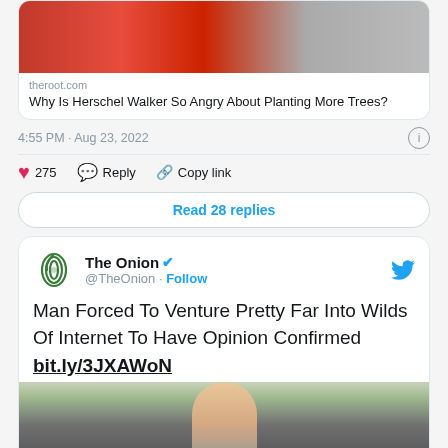[Figure (screenshot): Link preview image from theroot.com showing a person in red shirt]
theroot.com
Why Is Herschel Walker So Angry About Planting More Trees?
4:55 PM · Aug 23, 2022
275  Reply  Copy link
Read 28 replies
The Onion @TheOnion · Follow
Man Forced To Venture Pretty Far Into Wilds Of Internet To Have Opinion Confirmed bit.ly/3JXAWoN
[Figure (photo): Photo of a person, partially visible at bottom of tweet card]